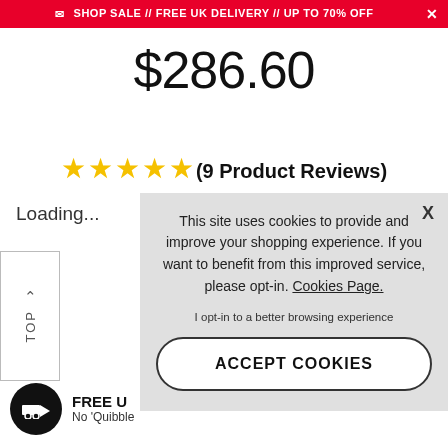SHOP SALE // FREE UK DELIVERY // UP TO 70% OFF
$286.60
★★★★★ (9 Product Reviews)
Loading...
See o
FREE U
No 'Quibble
OFFICI
›
This site uses cookies to provide and improve your shopping experience. If you want to benefit from this improved service, please opt-in. Cookies Page.
I opt-in to a better browsing experience
ACCEPT COOKIES